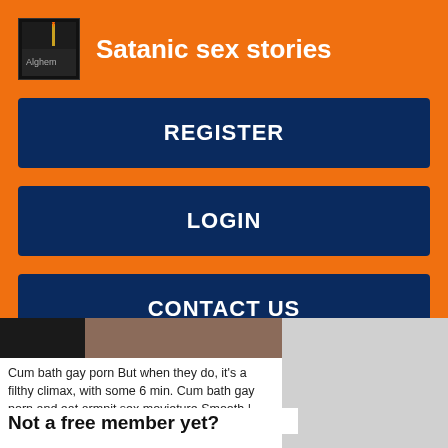Satanic sex stories
REGISTER
LOGIN
CONTACT US
[Figure (photo): Partial image strip showing dark and brown tones]
Cum bath gay porn But when they do, it's a filthy climax, with some 6 min. Cum bath gay porn and eat armpit sex movieture Smooth | Archi and 7 min. Bareback Bath House 5 3 min.
Not a free member yet?